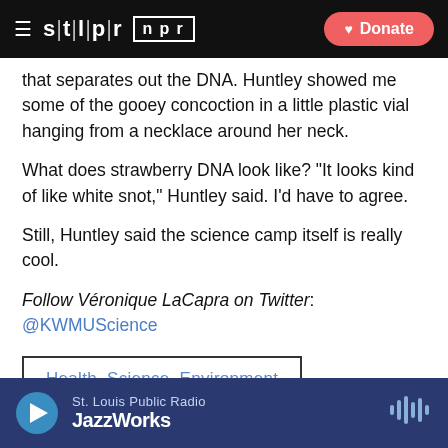STLPR NPR — Donate
that separates out the DNA. Huntley showed me some of the gooey concoction in a little plastic vial hanging from a necklace around her neck.
What does strawberry DNA look like? "It looks kind of like white snot," Huntley said. I'd have to agree.
Still, Huntley said the science camp itself is really cool.
Follow Véronique LaCapra on Twitter: @KWMUScience
Health, Science, Environment
St. Louis Public Radio — JazzWorks